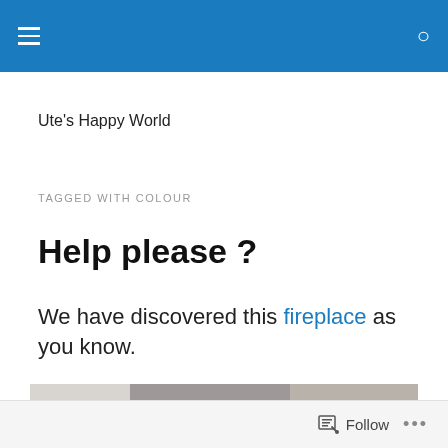Ute's Happy World — navigation bar with hamburger menu and search icon
Ute's Happy World
TAGGED WITH COLOUR
Help please ?
We have discovered this fireplace as you know.
[Figure (photo): Bottom portion of a fireplace image, partially visible]
Follow ...